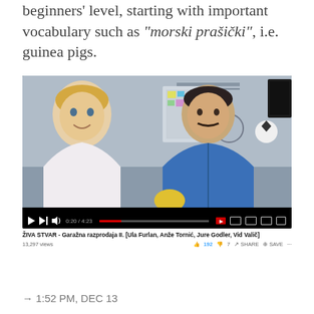beginners' level, starting with important vocabulary such as "morski prašički", i.e. guinea pigs.
[Figure (screenshot): YouTube video screenshot showing two men side by side — a blond man in a white shirt on the left and a dark-haired man with a mustache in a blue zip-up on the right — in what appears to be a video call or recording. YouTube player controls are visible at the bottom. Below the video: title 'ŽIVA STVAR - Garažna razprodaja II. [Ula Furlan, Anže Tornić, Jure Godler, Vid Valič]', 13,297 views, 192 likes, 7 dislikes, SHARE, SAVE buttons.]
→ 1:52 PM, DEC 13